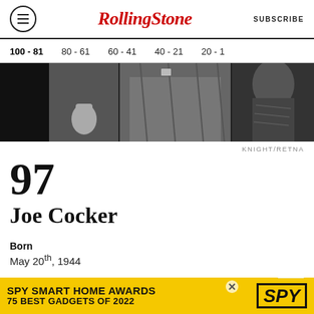Rolling Stone — SUBSCRIBE
100 - 81
80 - 61
60 - 41
40 - 21
20 - 1
[Figure (photo): Black and white photo strip showing partial figures]
KNIGHT/RETNA
97
Joe Cocker
Born
May 20th, 1944
[Figure (infographic): SPY SMART HOME AWARDS 75 BEST GADGETS OF 2022 advertisement banner]